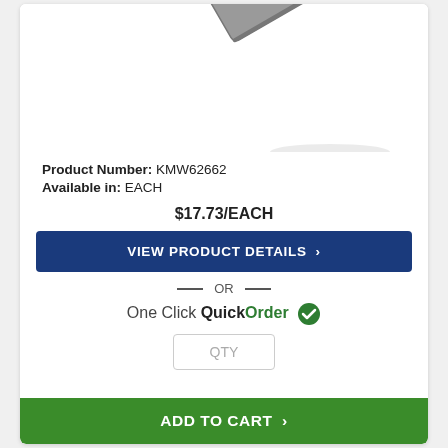[Figure (photo): Product photo of a gray power strip with multiple outlets, shown at an angle against white background, partially cropped at top]
Product Number: KMW62662
Available in: EACH
$17.73/EACH
VIEW PRODUCT DETAILS ›
— OR —
One Click QuickOrder ✓
QTY
ADD TO CART ›